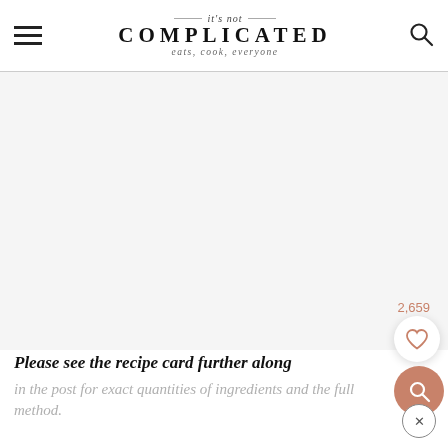it's not COMPLICATED — eats, cook, everyone
[Figure (photo): Large blank/white image area placeholder for a recipe photo]
2,659
Please see the recipe card further along in the post for exact quantities of ingredients and the full method.